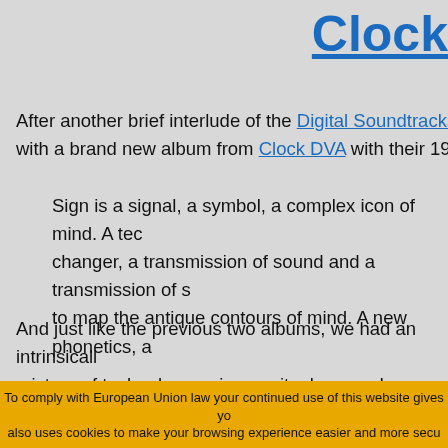Clock
After another brief interlude of the Digital Soundtracks early with a brand new album from Clock DVA with their 1993 op
Sign is a signal, a symbol, a complex icon of mind. A tec changer, a transmission of sound and a transmission of so to map the antique contours of mind. A new phonetics, a
And just like the previous two albums, we had an intrinsicall mixture of technology, science, rituals, soundscapes, desires self-destructing 25 years before it has become apparent it is a
Clock DVA - Sign original Italian CD
To comply with European Union law your continued use of this website gives yo also uses cookies to make your browsing experience easier and more secu